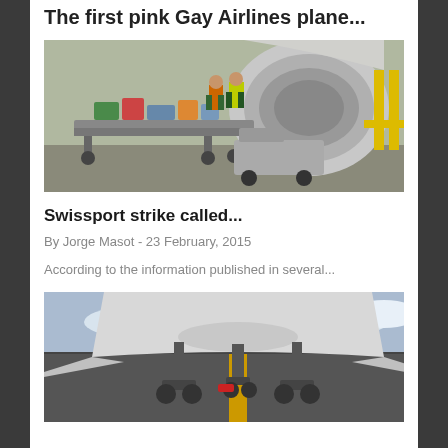The first pink Gay Airlines plane...
[Figure (photo): Airport ground crew loading baggage onto a luggage belt loader next to a large aircraft engine]
Swissport strike called...
By Jorge Masot - 23 February, 2015
According to the information published in several...
[Figure (photo): Low angle view of airplane belly and landing gear on a runway with yellow center line]